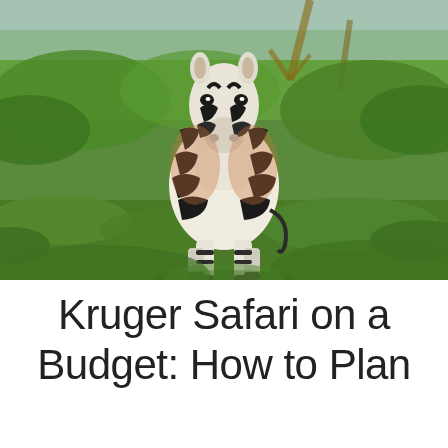[Figure (photo): A zebra standing in lush green savanna bush, facing the camera directly. The zebra has distinctive black and white stripes with brownish coloring on its sides. Background shows dense green shrubs and trees.]
Kruger Safari on a Budget: How to Plan